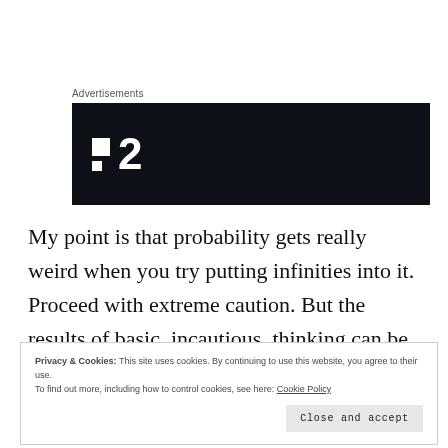Advertisements
[Figure (logo): Dark navy/black advertisement banner with white logo consisting of two squares stacked and the number 2, resembling a TV channel logo (TV 2 style)]
My point is that probability gets really weird when you try putting infinities into it. Proceed with extreme caution. But the results of basic, incautious, thinking can be quite heady.
Privacy & Cookies: This site uses cookies. By continuing to use this website, you agree to their use.
To find out more, including how to control cookies, see here: Cookie Policy
Close and accept